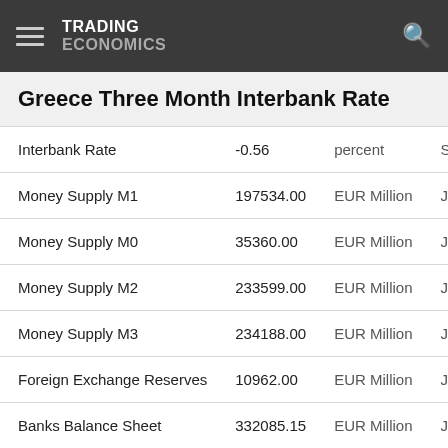TRADING ECONOMICS
Greece Three Month Interbank Rate
|  | Value | Unit | Date |
| --- | --- | --- | --- |
| Interbank Rate | -0.56 | percent | Sep |
| Money Supply M1 | 197534.00 | EUR Million | Jun |
| Money Supply M0 | 35360.00 | EUR Million | Jun |
| Money Supply M2 | 233599.00 | EUR Million | Jun |
| Money Supply M3 | 234188.00 | EUR Million | Jun |
| Foreign Exchange Reserves | 10962.00 | EUR Million | Jul 2 |
| Banks Balance Sheet | 332085.15 | EUR Million | Jul 2 |
| Loans to Private Sector | 67919.58 | EUR Million | Jul 2 |
| Loan Growth | 9.10 | percent | Jul 2 |